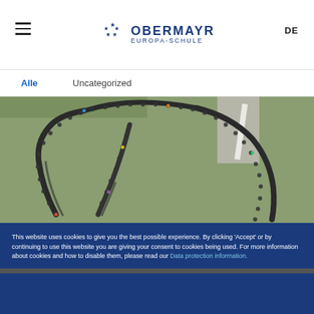OBERMAYR EUROPA-SCHULE — DE
Alle    Uncategorized
[Figure (photo): Aerial view of students forming a large ring/arc shape on a grassy school field, shot from directly above, showing long shadows cast by the students standing in formation.]
This website uses cookies to give you the best possible experience. By clicking 'Accept' or by continuing to use this website you are giving your consent to cookies being used. For more information about cookies and how to disable them, please read our Data protection information.
OK